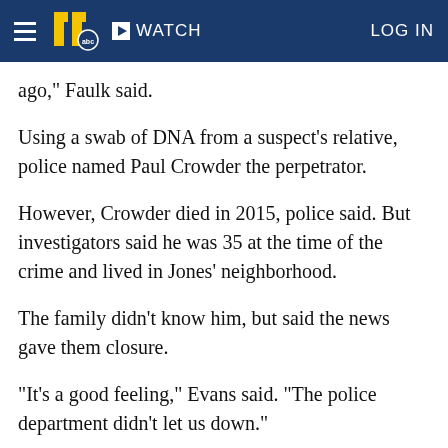WATCH  LOG IN
ago," Faulk said.
Using a swab of DNA from a suspect's relative, police named Paul Crowder the perpetrator.
However, Crowder died in 2015, police said. But investigators said he was 35 at the time of the crime and lived in Jones' neighborhood.
The family didn't know him, but said the news gave them closure.
"It's a good feeling," Evans said. "The police department didn't let us down."